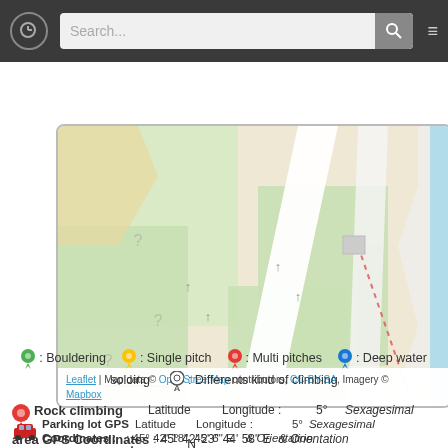[Figure (screenshot): Website navigation bar with search field and hamburger menu on dark background]
[Figure (map): OpenStreetMap tile showing green fields, grey roads, white paths and buildings, with a blue waterway on the right side]
Leaflet | Map data © OpenStreetMap contributors, CC-BY-SA, Imagery © Mapbox
: Bouldering   : Single pitch   : Multi pitches   : Deep water soloing   : Differents kind of climbing
Rock climbing area GPS Coordinates : Latitude : 45° 42' 23" N   Longitude : 5° 44' 58" E   Sexagesimal & Orientation
Parking lot GPS Coordinates : Latitude : 45° 42' 18" N   Longitude : 5° 45' 6" E   Sexagesimal & Orientation